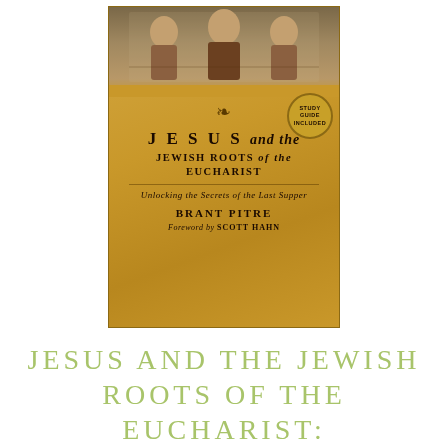[Figure (illustration): Book cover of 'Jesus and the Jewish Roots of the Eucharist: Unlocking the Secrets of the Last Supper' by Brant Pitre, Foreword by Scott Hahn. Gold/amber background with medieval religious artwork at the top depicting figures. A circular badge reads 'Study Guide Included'.]
JESUS AND THE JEWISH ROOTS OF THE EUCHARIST: UNLOCKING THE